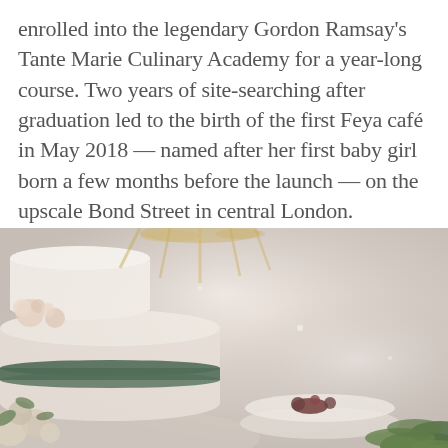enrolled into the legendary Gordon Ramsay's Tante Marie Culinary Academy for a year-long course. Two years of site-searching after graduation led to the birth of the first Feya café in May 2018 — named after her first baby girl born a few months before the launch — on the upscale Bond Street in central London.
[Figure (photo): Close-up photograph of a decorated cake or dessert on a table, with floral and greenery decorations, plates and food items visible in a softly lit restaurant or café setting.]